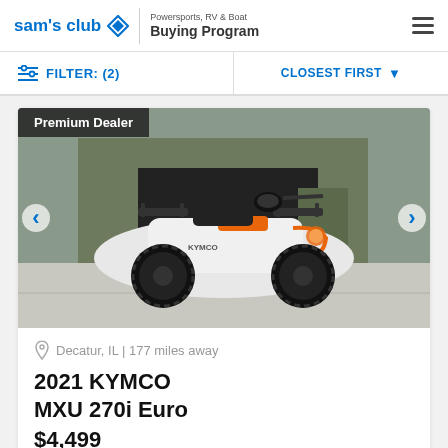sam's club | Powersports, RV & Boat Buying Program
FILTER: (2) | CLOSEST FIRST
[Figure (photo): White and orange KYMCO ATV (MXU 270i Euro) parked on a concrete surface in front of a metal barn/garage. The ATV has black wheels, orange accents, and cargo racks front and rear.]
Premium Dealer
Decatur, IL | 177 miles away
2021 KYMCO MXU 270i Euro
$4,499